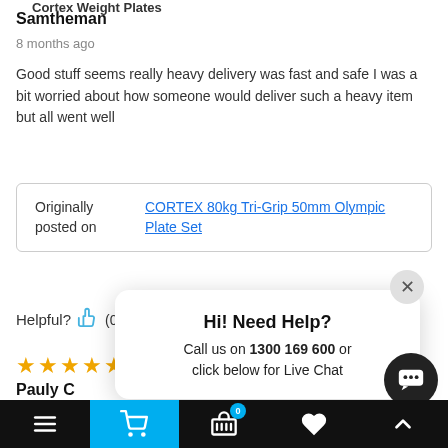Cortex Weight Plates
Samtheman
8 months ago
Good stuff seems really heavy delivery was fast and safe I was a bit worried about how someone would deliver such a heavy item but all went well
| Originally posted on | Link |
| --- | --- |
|  | CORTEX 80kg Tri-Grip 50mm Olympic Plate Set |
Helpful? (0) (0) Report
[Figure (other): 5 gold star rating]
Pauly C
a year ago
Amazing quality fo... bank! Will continue purchasing from your company
[Figure (other): Chat popup: Hi! Need Help? Call us on 1300 169 600 or click below for Live Chat]
Bottom navigation bar with menu, cart, basket (0), heart, up-arrow